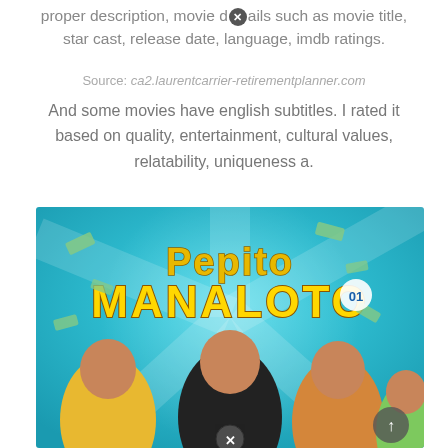proper description, movie details such as movie title, star cast, release date, language, imdb ratings.
Source: ca2.laurentcarrier-retirementplanner.com
And some movies have english subtitles. I rated it based on quality, entertainment, cultural values, relatability, uniqueness a.
[Figure (photo): Movie poster for 'Pepito Manaloto' showing the title in large stylized text against a teal/blue background with four cast members posing in the foreground and money/lottery balls scattered around.]